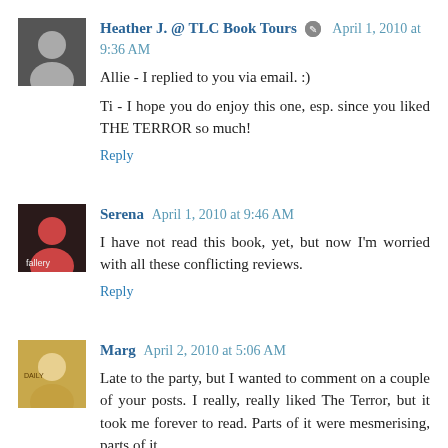Heather J. @ TLC Book Tours  April 1, 2010 at 9:36 AM
Allie - I replied to you via email. :)
Ti - I hope you do enjoy this one, esp. since you liked THE TERROR so much!
Reply
Serena  April 1, 2010 at 9:46 AM
I have not read this book, yet, but now I'm worried with all these conflicting reviews.
Reply
Marg  April 2, 2010 at 5:06 AM
Late to the party, but I wanted to comment on a couple of your posts. I really, really liked The Terror, but it took me forever to read. Parts of it were mesmerising, parts of it